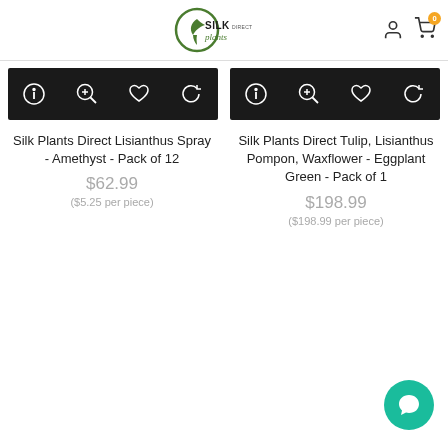Silk Plants Direct
[Figure (screenshot): Product listing for Silk Plants Direct Lisianthus Spray - Amethyst - Pack of 12 with black action bar icons]
Silk Plants Direct Lisianthus Spray - Amethyst - Pack of 12
$62.99
($5.25 per piece)
[Figure (screenshot): Product listing for Silk Plants Direct Tulip, Lisianthus Pompon, Waxflower - Eggplant Green - Pack of 1 with black action bar icons]
Silk Plants Direct Tulip, Lisianthus Pompon, Waxflower - Eggplant Green - Pack of 1
$198.99
($198.99 per piece)